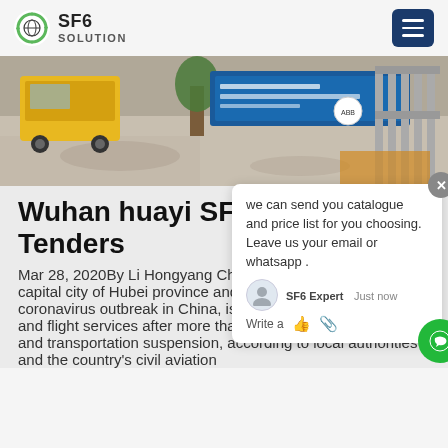SF6 SOLUTION
[Figure (photo): Outdoor photo showing a yellow vehicle/forklift and industrial gate/fence area with a blue sign board]
Wuhan huayi SF6 val… Tenders
Mar 28, 2020By Li Hongyang China Daily/ANN-Wuhan, the capital city of Hubei province and the epicenter of the novel coronavirus outbreak in China, is starting to reopen its railway and flight services after more than two months of a lockdown and transportation suspension, according to local authorities and the country's civil aviation